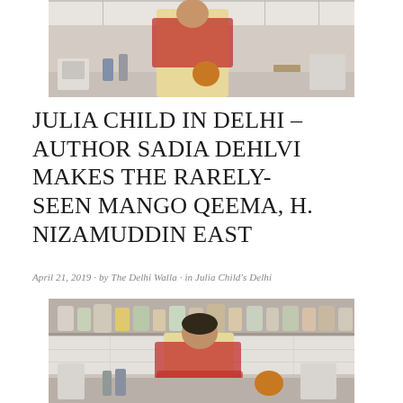[Figure (photo): Woman in a yellow and red dupatta outfit standing in a kitchen with appliances and items on the counter, cropped to upper portion]
JULIA CHILD IN DELHI – AUTHOR SADIA DEHLVI MAKES THE RARELY-SEEN MANGO QEEMA, H. NIZAMUDDIN EAST
April 21, 2019 · by The Delhi Walla · in Julia Child's Delhi
[Figure (photo): Woman in yellow outfit with red dupatta sitting in a kitchen with shelves of jars and bottles in the background, arms crossed, looking at camera]